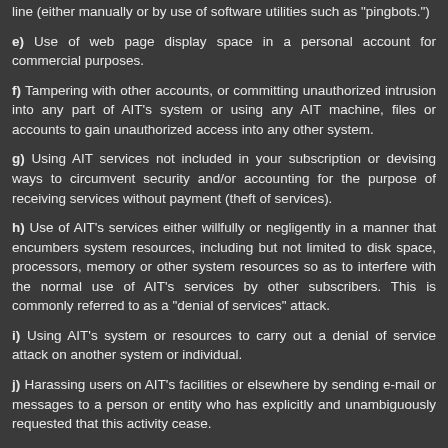line (either manually or by use of software utilities such as "pingbots.")
e) Use of web page display space in a personal account for commercial purposes.
f) Tampering with other accounts, or committing unauthorized intrusion into any part of AIT's system or using any AIT machine, files or accounts to gain unauthorized access into any other system.
g) Using AIT services not included in your subscription or devising ways to circumvent security and/or accounting for the purpose of receiving services without payment (theft of services).
h) Use of AIT's services either willfully or negligently in a manner that encumbers system resources, including but not limited to disk space, processors, memory or other system resources so as to interfere with the normal use of AIT's services by other subscribers. This is commonly referred to as a "denial of services" attack.
i) Using AIT's system or resources to carry out a denial of service attack on another system or individual.
j) Harassing users on AIT's facilities or elsewhere by sending e-mail or messages to a person or entity who has explicitly and unambiguously requested that this activity cease.
k) Posting a single article or substantially similar articles to more